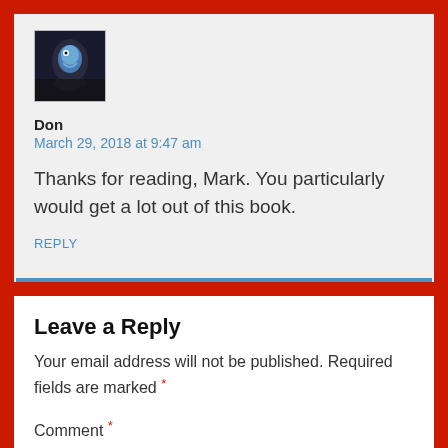[Figure (photo): Avatar image of commenter Don — appears to be a stylized blue bird or character photo against a dark background]
Don
March 29, 2018 at 9:47 am
Thanks for reading, Mark. You particularly would get a lot out of this book.
REPLY
Leave a Reply
Your email address will not be published. Required fields are marked *
Comment *